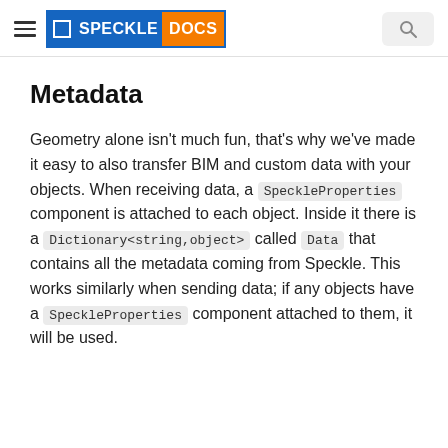SPECKLE DOCS
Metadata
Geometry alone isn't much fun, that's why we've made it easy to also transfer BIM and custom data with your objects. When receiving data, a SpeckleProperties component is attached to each object. Inside it there is a Dictionary<string,object> called Data that contains all the metadata coming from Speckle. This works similarly when sending data; if any objects have a SpeckleProperties component attached to them, it will be used.